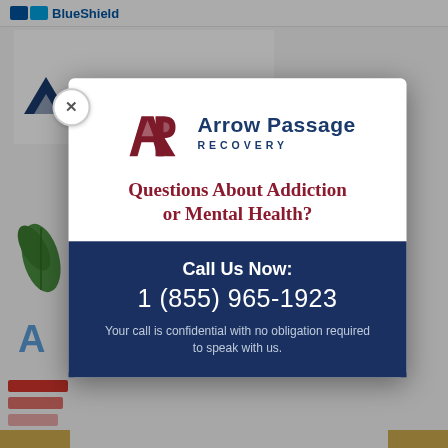[Figure (logo): Blue Shield logo fragment at top of page]
[Figure (logo): AultCare Health Plans logo]
[Figure (other): Arrow Passage Recovery modal popup with close button (x), logo, question text, and call-to-action phone number box]
Questions About Addiction or Mental Health?
Call Us Now: 1 (855) 965-1923
Your call is confidential with no obligation required to speak with us.